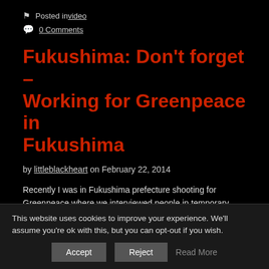Posted in video
0 Comments
Fukushima: Don't forget – Working for Greenpeace in Fukushima
by littleblackheart on February 22, 2014
Recently I was in Fukushima prefecture shooting for Greenpeace where we interviewed people in temporary housing and visited their original homes in areas which are no longer safe to live due to radioactive contamination.
This website uses cookies to improve your experience. We'll assume you're ok with this, but you can opt-out if you wish.
Accept   Reject   Read More